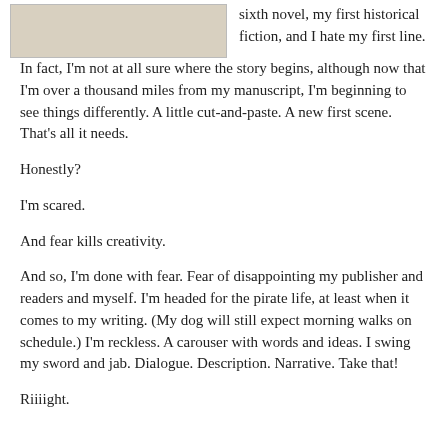[Figure (photo): A light beige/gray rectangular image placeholder at the top left of the page]
sixth novel, my first historical fiction, and I hate my first line. In fact, I'm not at all sure where the story begins, although now that I'm over a thousand miles from my manuscript, I'm beginning to see things differently. A little cut-and-paste. A new first scene. That's all it needs.
Honestly?
I'm scared.
And fear kills creativity.
And so, I'm done with fear. Fear of disappointing my publisher and readers and myself. I'm headed for the pirate life, at least when it comes to my writing. (My dog will still expect morning walks on schedule.) I'm reckless. A carouser with words and ideas. I swing my sword and jab. Dialogue. Description. Narrative. Take that!
Riiiight.